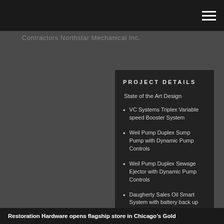Contractors Northstar Mechanical Inc.
PROJECT DETAILS
State of the Art Design
VC Systems Triplex Variable speed Booster System
Weil Pump Duplex Sump Pump with Dynamic Pump Controls
Weil Pump Duplex Sewage Ejector with Dynamic Pump Controls
Daugherty Sales Oil Smart System with battery back up
Restoration Hardware opens flagship store in Chicago's Gold